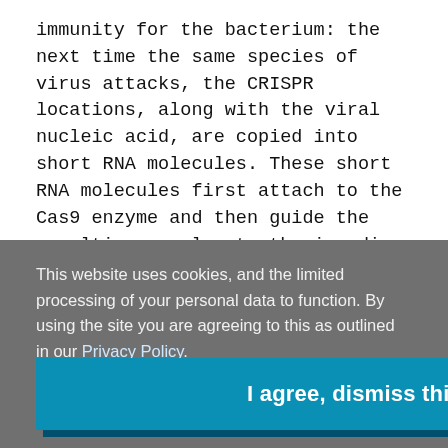immunity for the bacterium: the next time the same species of virus attacks, the CRISPR locations, along with the viral nucleic acid, are copied into short RNA molecules. These short RNA molecules first attach to the Cas9 enzyme and then guide the resulting complex to the invading nucleic acid, identifying it by its matching sequence. Cas9 then cuts the targeted nucleic acid, thus disabling the virus's ability to hijack the bacterium for its own replication.
This website uses cookies, and the limited processing of your personal data to function. By using the site you are agreeing to this as outlined in our Privacy Policy.
I agree, dismiss this banner